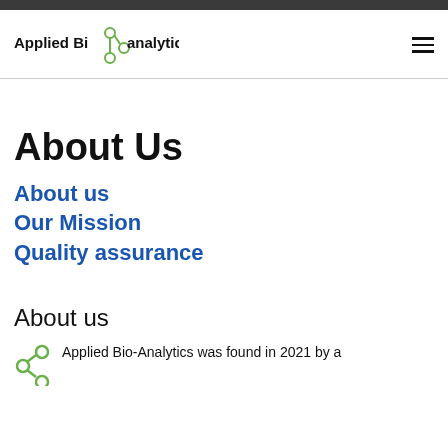Applied Bioanalytics
About Us
About us
Our Mission
Quality assurance
About us
Applied Bio-Analytics was found in 2021 by a